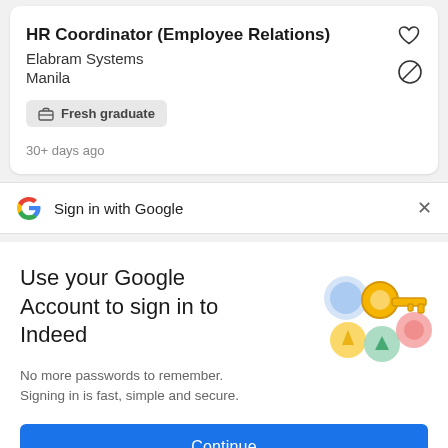HR Coordinator (Employee Relations)
Elabram Systems
Manila
Fresh graduate
30+ days ago
Sign in with Google
Use your Google Account to sign in to Indeed
No more passwords to remember. Signing in is fast, simple and secure.
[Figure (illustration): Colorful illustration of a key with circular badges in blue, yellow, green, and red/pink colors, representing Google sign-in security]
Continue